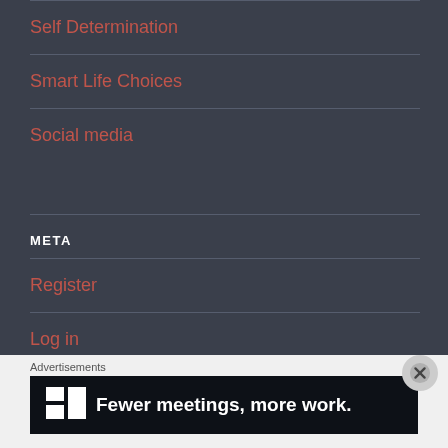Self Determination
Smart Life Choices
Social media
META
Register
Log in
Entries feed
Advertisements
[Figure (screenshot): Dark advertisement banner for a product called '2' with text 'Fewer meetings, more work.']